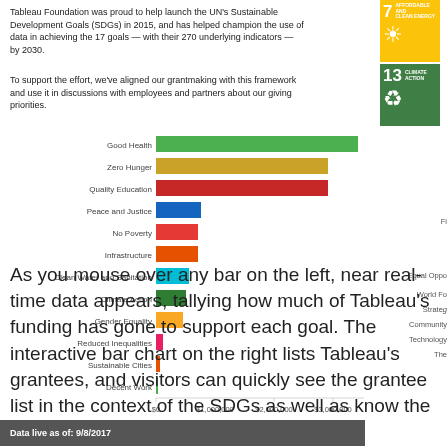Tableau Foundation was proud to help launch the UN's Sustainable Development Goals (SDGs) in 2015, and has helped champion the use of data in achieving the 17 goals — with their 270 underlying indicators — by 2030.
To support the effort, we've aligned our grantmaking with this framework and use it in discussions with employees and partners about our giving priorities.
[Figure (bar-chart): Tableau Foundation Grantmaking by SDG]
Data live as of: 9/8/2017
As you mouse over any bar on the left, near real-time data appears, tallying how much of Tableau's funding has gone to support each goal. The interactive bar chart on the right lists Tableau's grantees, and visitors can quickly see the grantee list in the context of the SDGs as well as know the specific number of its grantees' giving strategy and mission.